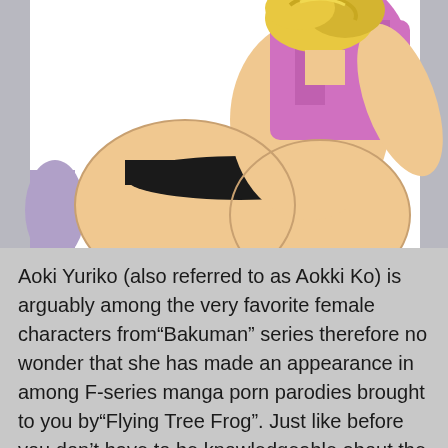[Figure (illustration): Anime/manga style illustration of a blonde female character from behind, wearing a pink tank top and black underwear, in a crouching pose. The background is white/light.]
Aoki Yuriko (also referred to as Aokki Ko) is arguably among the very favorite female characters from“Bakuman” series therefore no wonder that she has made an appearance in among F-series manga porn parodies brought to you by“Flying Tree Frog”. Just like before you don’t have to be knowledgeable about the